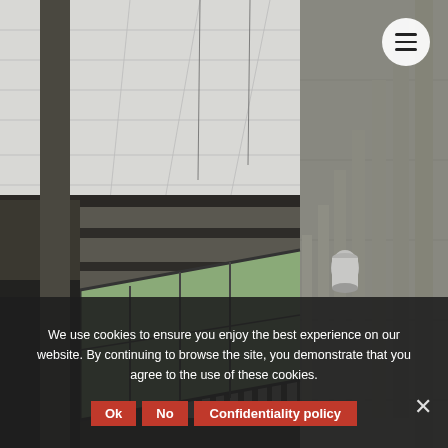[Figure (photo): Interior architectural photograph showing a long corridor with white ceiling panels supported by dark steel beams, a concrete wall on the right with a series of ascending grey rectangular fin-shaped protrusions of varying heights, a cylindrical wall-mounted light fixture, and floor-to-ceiling windows at the far end revealing green trees outside.]
We use cookies to ensure you enjoy the best experience on our website. By continuing to browse the site, you demonstrate that you agree to the use of these cookies.
Ok   No   Confidentiality policy